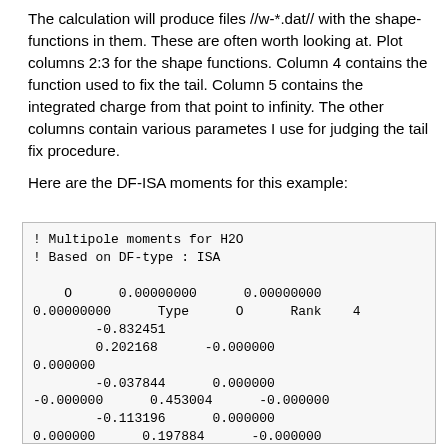The calculation will produce files //w-*.dat// with the shape-functions in them. These are often worth looking at. Plot columns 2:3 for the shape functions. Column 4 contains the function used to fix the tail. Column 5 contains the integrated charge from that point to infinity. The other columns contain various parametes I use for judging the tail fix procedure.
Here are the DF-ISA moments for this example:
! Multipole moments for H2O
! Based on DF-type : ISA

    O      0.00000000      0.00000000
0.00000000      Type      O      Rank    4
        -0.832451
        0.202168      -0.000000
0.000000
        -0.037844      0.000000
-0.000000      0.453004      -0.000000
        -0.113196      0.000000
0.000000      0.197884      -0.000000
0.000000
        -0.000000
         0.027601      0.000000